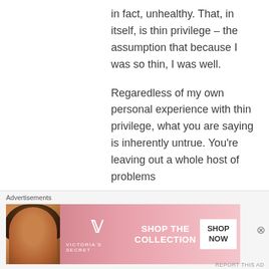in fact, unhealthy. That, in itself, is thin privilege – the assumption that because I was so thin, I was well.

Regaredless of my own personal experience with thin privilege, what you are saying is inherently untrue. You're leaving out a whole host of problems
Advertisements
[Figure (photo): Victoria's Secret advertisement banner with a woman's photo on the left, VS logo in the middle, 'SHOP THE COLLECTION' text, and a white 'SHOP NOW' button on the right. Pink gradient background.]